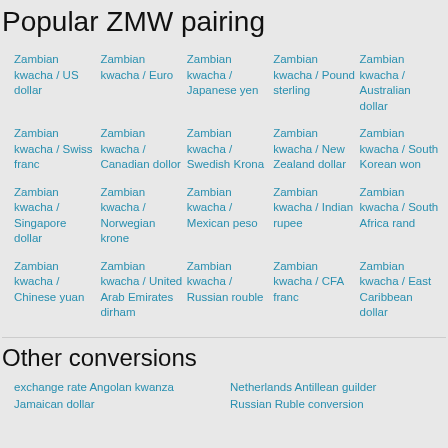Popular ZMW pairing
Zambian kwacha / US dollar
Zambian kwacha / Euro
Zambian kwacha / Japanese yen
Zambian kwacha / Pound sterling
Zambian kwacha / Australian dollar
Zambian kwacha / Swiss franc
Zambian kwacha / Canadian dollor
Zambian kwacha / Swedish Krona
Zambian kwacha / New Zealand dollar
Zambian kwacha / South Korean won
Zambian kwacha / Singapore dollar
Zambian kwacha / Norwegian krone
Zambian kwacha / Mexican peso
Zambian kwacha / Indian rupee
Zambian kwacha / South Africa rand
Zambian kwacha / Chinese yuan
Zambian kwacha / United Arab Emirates dirham
Zambian kwacha / Russian rouble
Zambian kwacha / CFA franc
Zambian kwacha / East Caribbean dollar
Other conversions
exchange rate Angolan kwanza Jamaican dollar
Netherlands Antillean guilder Russian Ruble conversion